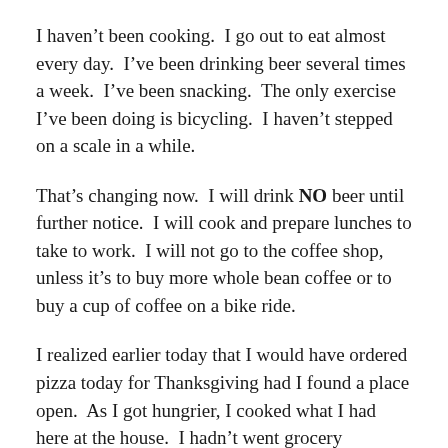I haven't been cooking.  I go out to eat almost every day.  I've been drinking beer several times a week.  I've been snacking.  The only exercise I've been doing is bicycling.  I haven't stepped on a scale in a while.
That's changing now.  I will drink NO beer until further notice.  I will cook and prepare lunches to take to work.  I will not go to the coffee shop, unless it's to buy more whole bean coffee or to buy a cup of coffee on a bike ride.
I realized earlier today that I would have ordered pizza today for Thanksgiving had I found a place open.  As I got hungrier, I cooked what I had here at the house.  I hadn't went grocery shopping in a while, but I had pork chops, frozen vegetables, and a couple of potatoes that I made into mashed